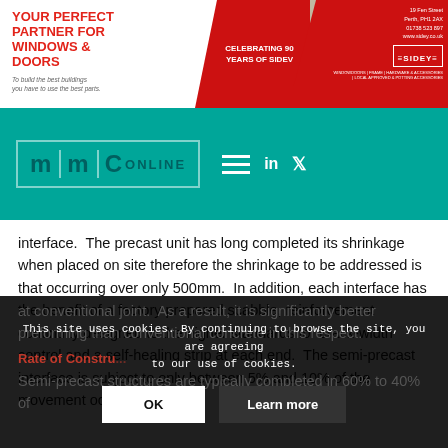[Figure (infographic): Sidey advertising banner: red and white design with house photo, text 'YOUR PERFECT PARTNER FOR WINDOWS & DOORS', 'CELEBRATING 90 YEARS OF SIDEV', address details and Sidey logo]
[Figure (logo): MMC Online logo on teal/green background with hamburger menu, LinkedIn and Twitter icons]
interface.  The precast unit has long completed its shrinkage when placed on site therefore the shrinkage to be addressed is that occurring over only 500mm.  In addition, each interface has the benefit of a factory prepared scabble, reinforcement continuity designed to the higher standards for crack-width control and a self-healing strip at each end.  The semi-precast interface is subject to only between 5% and 10% of the movement occurring at conventional joint.  As a result, it is significantly better preforming than conventional concrete in this respect.
Rate of Constru...
Semi-precast structures are typlcally completed in 60% to 40% of
This site uses cookies. By continuing to browse the site, you are agreeing to our use of cookies.